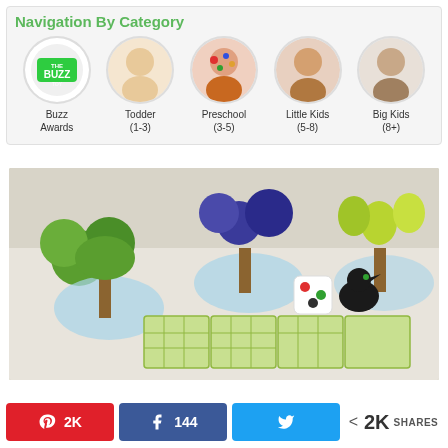Navigation By Category
[Figure (infographic): Navigation category circles: Buzz Awards logo, Toddler (1-3) baby photo, Preschool (3-5) child with painted face, Little Kids (5-8) smiling girl, Big Kids (8+) older girl]
[Figure (photo): Board game photo showing colorful fruit-themed game pieces including green apples, blue plums, a dice, a crow figurine, and game board cards on a white surface]
2K  144  2K SHARES